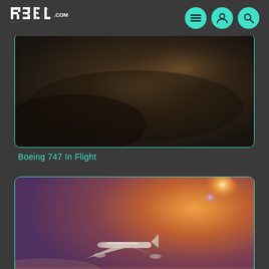R3EL.COM navigation header with logo and icons
[Figure (photo): Dark gradient background card with rounded corners and teal border, representing a Boeing 747 In Flight video thumbnail (mostly dark/obscured)]
Boeing 747 In Flight
[Figure (photo): Boeing 747 aircraft flying through sunset clouds with orange and purple hues and lens flare, inside a rounded card with teal border]
Boeing 747 in Flight